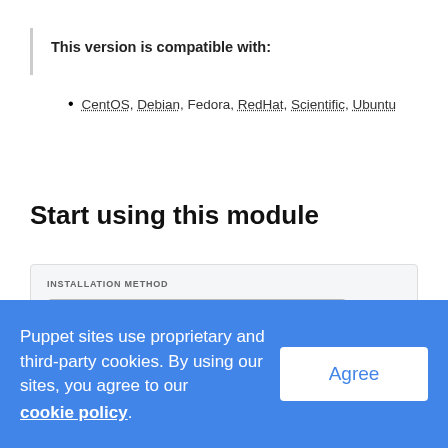This version is compatible with:
CentOS, Debian, Fedora, RedHat, Scientific, Ubuntu
Start using this module
INSTALLATION METHOD
r10k or Code Manager
Add this module to your Puppetfile:
Puppet sites use proprietary and third-party cookies. By using our sites, you agree to our cookie policy.